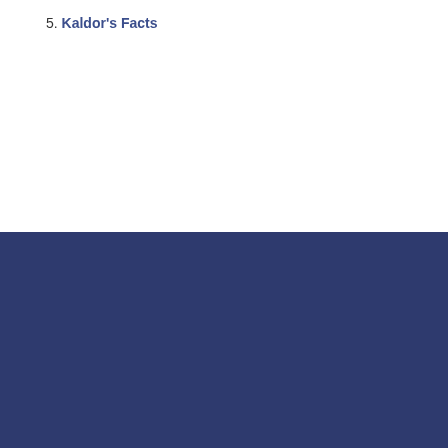5. Kaldor's Facts
PAGES
Home
Alternative investments
Behavioral Finance
Bond valuation
Derivative valuation